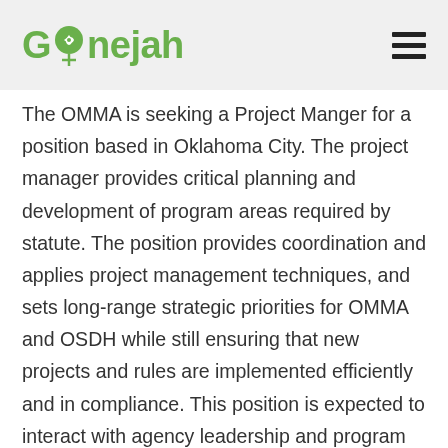Gonejah
The OMMA is seeking a Project Manger for a position based in Oklahoma City. The project manager provides critical planning and development of program areas required by statute. The position provides coordination and applies project management techniques, and sets long-range strategic priorities for OMMA and OSDH while still ensuring that new projects and rules are implemented efficiently and in compliance. This position is expected to interact with agency leadership and program staff, as well as executive level partners, from both the public and private sectors in Oklahoma.